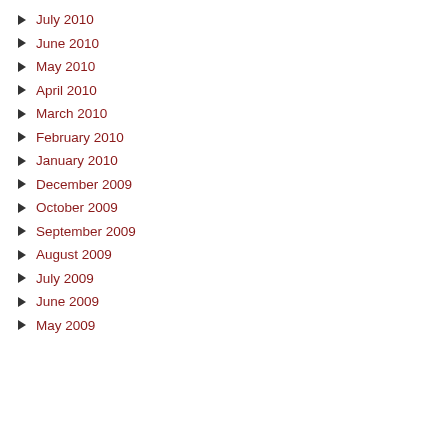July 2010
June 2010
May 2010
April 2010
March 2010
February 2010
January 2010
December 2009
October 2009
September 2009
August 2009
July 2009
June 2009
May 2009